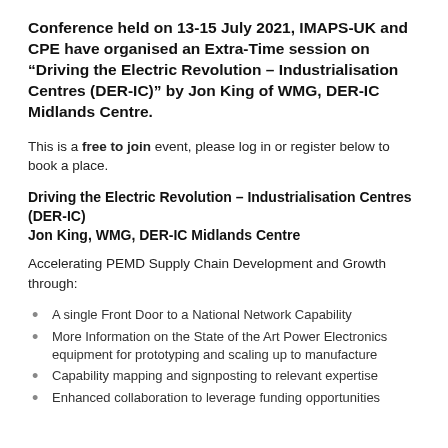Conference held on 13-15 July 2021, IMAPS-UK and CPE have organised an Extra-Time session on “Driving the Electric Revolution – Industrialisation Centres (DER-IC)” by Jon King of WMG, DER-IC Midlands Centre.
This is a free to join event, please log in or register below to book a place.
Driving the Electric Revolution – Industrialisation Centres (DER-IC)
Jon King, WMG, DER-IC Midlands Centre
Accelerating PEMD Supply Chain Development and Growth through:
A single Front Door to a National Network Capability
More Information on the State of the Art Power Electronics equipment for prototyping and scaling up to manufacture
Capability mapping and signposting to relevant expertise
Enhanced collaboration to leverage funding opportunities